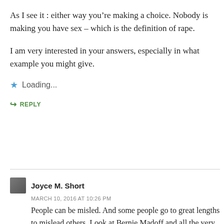As I see it : either way you're making a choice. Nobody is making you have sex – which is the definition of rape.
I am very interested in your answers, especially in what example you might give.
Loading...
REPLY
Joyce M. Short
MARCH 10, 2016 AT 10:26 PM
People can be misled. And some people go to great lengths to mislead others. Look at Bernie Madoff and all the very intelligent people he conned out of